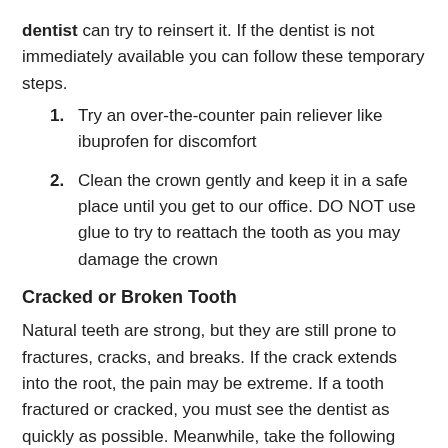dentist can try to reinsert it. If the dentist is not immediately available you can follow these temporary steps.
1. Try an over-the-counter pain reliever like ibuprofen for discomfort
2. Clean the crown gently and keep it in a safe place until you get to our office. DO NOT use glue to try to reattach the tooth as you may damage the crown
Cracked or Broken Tooth
Natural teeth are strong, but they are still prone to fractures, cracks, and breaks. If the crack extends into the root, the pain may be extreme. If a tooth fractured or cracked, you must see the dentist as quickly as possible. Meanwhile, take the following steps:
1. Rinse the tooth fragment and the mouth with lukewarm water
2. Apply gauze to the area for ten minutes if there is bleeding